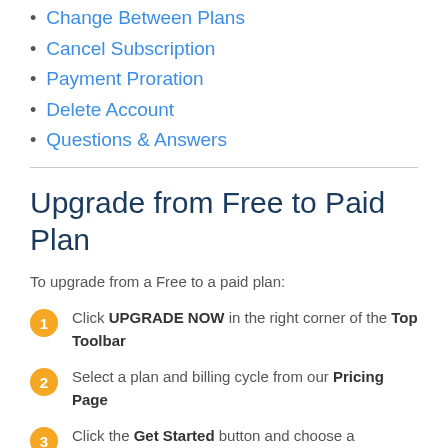Change Between Plans
Cancel Subscription
Payment Proration
Delete Account
Questions & Answers
Upgrade from Free to Paid Plan
To upgrade from a Free to a paid plan:
Click UPGRADE NOW in the right corner of the Top Toolbar
Select a plan and billing cycle from our Pricing Page
Click the Get Started button and choose a Payment Method